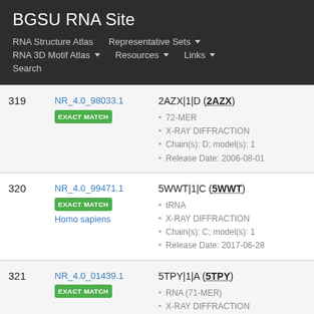BGSU RNA Site
RNA Structure Atlas | Representative Sets ▾ | RNA 3D Motif Atlas ▾ | Resources ▾ | Links ▾ | Search
| # | ID | Entry |
| --- | --- | --- |
| 319 | NR_4.0_98033.1 EXACT MATCH | 2AZX|1|D (2AZX)
• 72-MER
• X-RAY DIFFRACTION
• Chain(s): D; model(s): 1
• Release Date: 2006-08-01 |
| 320 | NR_4.0_99471.1 EXACT MATCH Homo sapiens | 5WWT|1|C (5WWT)
• tRNA
• X-RAY DIFFRACTION
• Chain(s): C; model(s): 1
• Release Date: 2017-06-28 |
| 321 | NR_4.0_01439.1 EXACT MATCH | 5TPY|1|A (5TPY)
• RNA (71-MER)
• X-RAY DIFFRACTION |